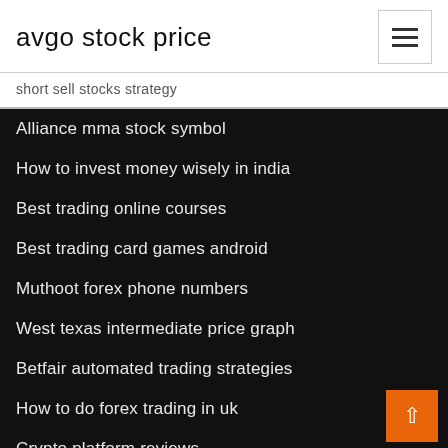avgo stock price
short sell stocks strategy
Alliance mma stock symbol
How to invest money wisely in india
Best trading online courses
Best trading card games android
Muthoot forex phone numbers
West texas intermediate price graph
Betfair automated trading strategies
How to do forex trading in uk
Crypto platform reviews
Oil stock nasdaq